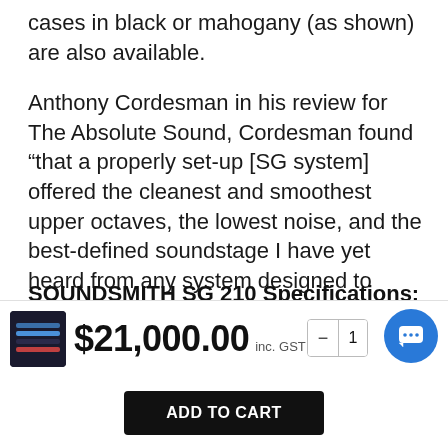cases in black or mahogany (as shown) are also available.
Anthony Cordesman in his review for The Absolute Sound, Cordesman found “that a properly set-up [SG system] offered the cleanest and smoothest upper octaves, the lowest noise, and the best-defined soundstage I have yet heard from any system designed to reproduce records.”
SOUNDSMITH SG 210 Specifications:
Cartridge Type = Strain Gauge
$21,000.00 inc. GST
ADD TO CART